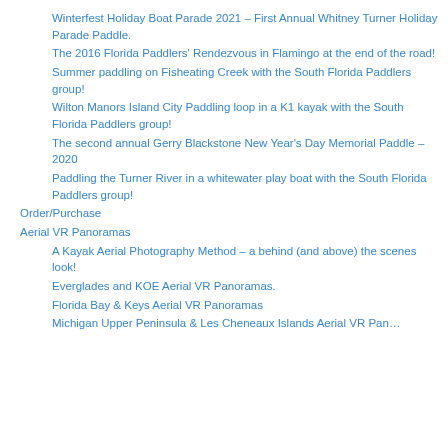Winterfest Holiday Boat Parade 2021 – First Annual Whitney Turner Holiday Parade Paddle.
The 2016 Florida Paddlers' Rendezvous in Flamingo at the end of the road!
Summer paddling on Fisheating Creek with the South Florida Paddlers group!
Wilton Manors Island City Paddling loop in a K1 kayak with the South Florida Paddlers group!
The second annual Gerry Blackstone New Year's Day Memorial Paddle – 2020
Paddling the Turner River in a whitewater play boat with the South Florida Paddlers group!
Order/Purchase
Aerial VR Panoramas
A Kayak Aerial Photography Method – a behind (and above) the scenes look!
Everglades and KOE Aerial VR Panoramas.
Florida Bay & Keys Aerial VR Panoramas
Michigan Upper Peninsula & Les Cheneaux Islands Aerial VR Pan…